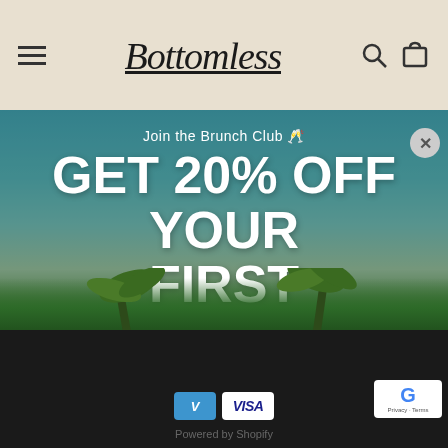Bottomless — navigation header with hamburger menu, logo, search and cart icons
[Figure (screenshot): Beach background with teal ocean water and palm trees, with a promotional modal overlay]
Join the Brunch Club 🥂
GET 20% OFF YOUR FIRST PURCHASE
Email (input field)
Subscribe (button)
Venmo and VISA payment icons, reCAPTCHA badge, Powered by Shopify